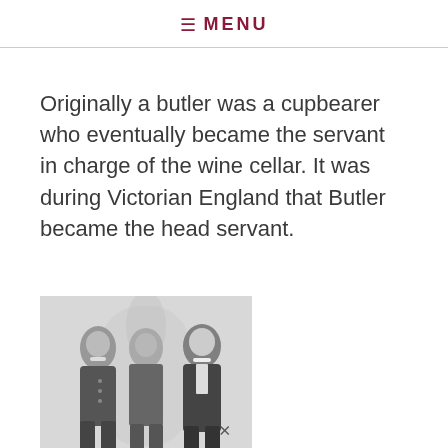≡ MENU
Originally a butler was a cupbearer who eventually became the servant in charge of the wine cellar. It was during Victorian England that Butler became the head servant.
[Figure (illustration): Black and white vintage illustration of three men in formal Victorian butler or servant attire, wearing tailcoats and waistcoats.]